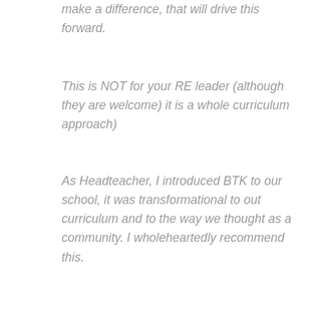make a difference, that will drive this forward.
This is NOT for your RE leader (although they are welcome) it is a whole curriculum approach)
As Headteacher, I introduced BTK to our school, it was transformational to out curriculum and to the way we thought as a community. I wholeheartedly recommend this.